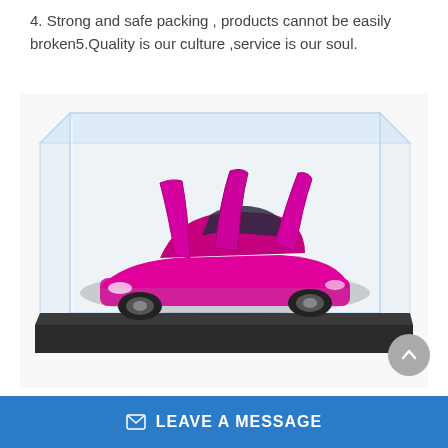4. Strong and safe packing , products cannot be easily broken5.Quality is our culture ,service is our soul.
[Figure (photo): A pink metallic diecast sports car model with doors open, displayed inside a clear acrylic display box with a black base.]
LEAVE A MESSAGE